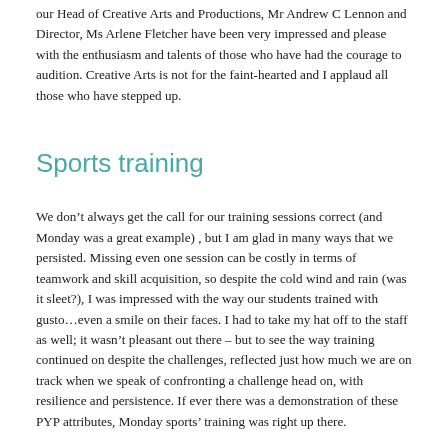our Head of Creative Arts and Productions, Mr Andrew C Lennon and Director, Ms Arlene Fletcher have been very impressed and please with the enthusiasm and talents of those who have had the courage to audition. Creative Arts is not for the faint-hearted and I applaud all those who have stepped up.
Sports training
We don't always get the call for our training sessions correct (and Monday was a great example) , but I am glad in many ways that we persisted. Missing even one session can be costly in terms of teamwork and skill acquisition, so despite the cold wind and rain (was it sleet?), I was impressed with the way our students trained with gusto…even a smile on their faces. I had to take my hat off to the staff as well; it wasn't pleasant out there – but to see the way training continued on despite the challenges, reflected just how much we are on track when we speak of confronting a challenge head on, with resilience and persistence. If ever there was a demonstration of these PYP attributes, Monday sports' training was right up there.